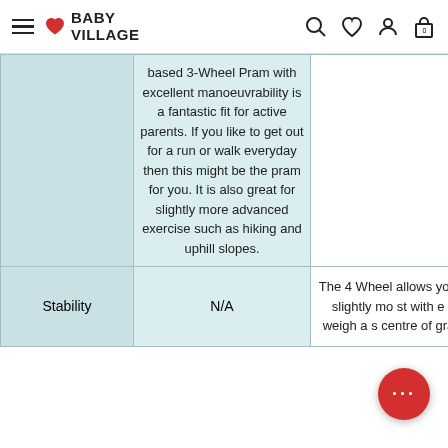Baby Village
|  |  |  |
| --- | --- | --- |
|  | based 3-Wheel Pram with excellent manoeuvrability is a fantastic fit for active parents. If you like to get out for a run or walk everyday then this might be the pram for you. It is also great for slightly more advanced exercise such as hiking and uphill slopes. |  |
| Stability | N/A | The 4 Wheel allows you to slightly mo st with e bi weigh a s centre of gravit |